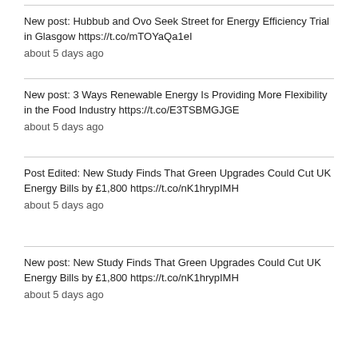New post: Hubbub and Ovo Seek Street for Energy Efficiency Trial in Glasgow https://t.co/mTOYaQa1eI
about 5 days ago
New post: 3 Ways Renewable Energy Is Providing More Flexibility in the Food Industry https://t.co/E3TSBMGJGE
about 5 days ago
Post Edited: New Study Finds That Green Upgrades Could Cut UK Energy Bills by £1,800 https://t.co/nK1hrypIMH
about 5 days ago
New post: New Study Finds That Green Upgrades Could Cut UK Energy Bills by £1,800 https://t.co/nK1hrypIMH
about 5 days ago